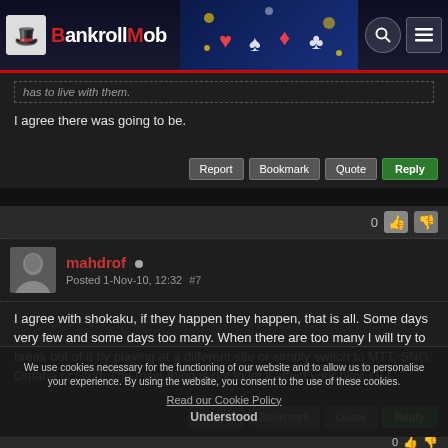[Figure (screenshot): BankrollMob website header with logo, casino banner, search and menu icons]
has to live with them.
I agree there was going to be.
Report | Bookmark | Quote | Reply
0 [thumbs up] [thumbs down]
mahdrof • Posted 1-Nov-10, 12:32 #7
I agree with shokaku, if they happen they happen, that is all. Some days very few and some days too many. When there are too many I will try to break out of it by playing at a different site or simply switch to MTT, SNG, Omaha or Stud. The main thing is not to let it affect your play. GL!
Report | Bookmark | Quote | Reply
We use cookies necessary for the functioning of our website and to allow us to personalise your experience. By using the website, you consent to the use of these cookies. Read our Cookie Policy Understood